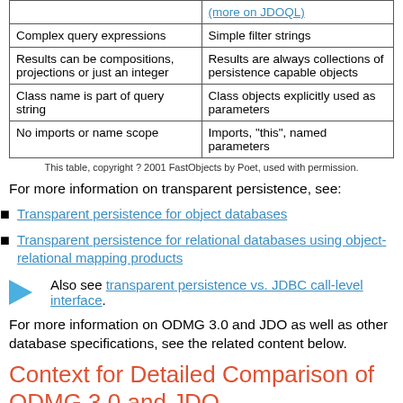| (more on JDOQL) |  |
| Complex query expressions | Simple filter strings |
| Results can be compositions, projections or just an integer | Results are always collections of persistence capable objects |
| Class name is part of query string | Class objects explicitly used as parameters |
| No imports or name scope | Imports, "this", named parameters |
This table, copyright ? 2001 FastObjects by Poet, used with permission.
For more information on transparent persistence, see:
Transparent persistence for object databases
Transparent persistence for relational databases using object-relational mapping products
Also see transparent persistence vs. JDBC call-level interface.
For more information on ODMG 3.0 and JDO as well as other database specifications, see the related content below.
Context for Detailed Comparison of ODMG 3.0 and JDO